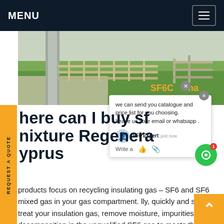MENU
[Figure (photo): Outdoor industrial facility with metal railings and green grass, SF6 China label visible]
Where can I buy sf6 mixture Regeneration Cyprus
we can send you catalogue and price list for you choosing. Leave us your email or whatsapp .
SF6 Expert   just now
Write a
Our products focus on recycling insulating gas – SF6 and SF6 mixed gas in your gas compartment. Efficiently, quickly and safely treat your insulation gas, remove moisture, impurities, decomposition in the unqualified SF6 gas to meets the IEC standard, and realize waste gas can be reused again. 750kv-substation-onsite-service Get price